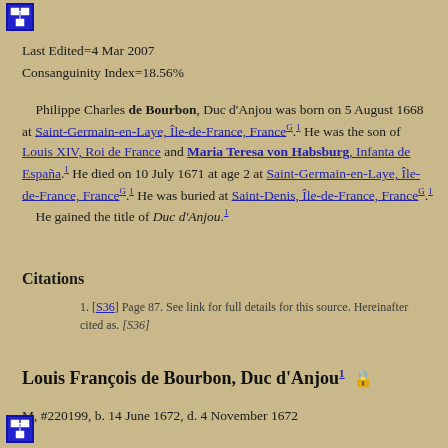[Figure (logo): Blue icon box with diagram symbol]
Last Edited=4 Mar 2007
Consanguinity Index=18.56%
Philippe Charles de Bourbon, Duc d'Anjou was born on 5 August 1668 at Saint-Germain-en-Laye, Île-de-France, France G . 1  He was the son of Louis XIV, Roi de France and Maria Teresa von Habsburg, Infanta de España. 1  He died on 10 July 1671 at age 2 at Saint-Germain-en-Laye, Île-de-France, France G . 1  He was buried at Saint-Denis, Île-de-France, France G . 1  He gained the title of Duc d'Anjou. 1
Citations
1. [S36] Page 87. See link for full details for this source. Hereinafter cited as. [S36]
Louis François de Bourbon, Duc d'Anjou 1
M, #220199, b. 14 June 1672, d. 4 November 1672
[Figure (logo): Blue icon box with diagram symbol]